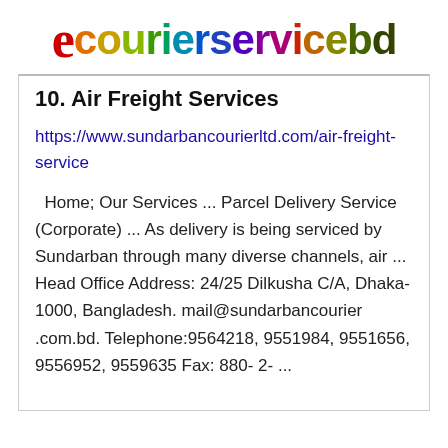[Figure (logo): ecourierservicebd logo with colorful gradient letters and a red stylized 'e' icon]
10. Air Freight Services
https://www.sundarbancourierltd.com/air-freight-service
Home; Our Services ... Parcel Delivery Service (Corporate) ... As delivery is being serviced by Sundarban through many diverse channels, air ... Head Office Address: 24/25 Dilkusha C/A, Dhaka-1000, Bangladesh. mail@sundarbancourier .com.bd. Telephone:9564218, 9551984, 9551656, 9556952, 9559635 Fax: 880- 2- ...